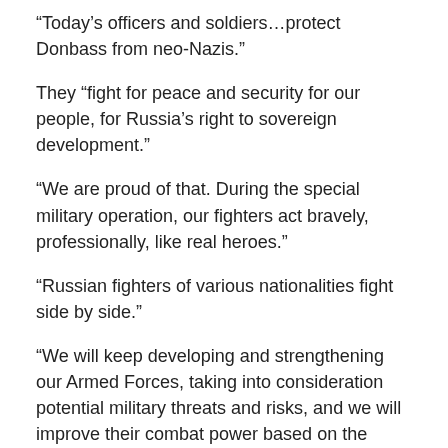“Today’s officers and soldiers…protect Donbass from neo-Nazis.”
They “fight for peace and security for our people, for Russia’s right to sovereign development.”
“We are proud of that. During the special military operation, our fighters act bravely, professionally, like real heroes.”
“Russian fighters of various nationalities fight side by side.”
“We will keep developing and strengthening our Armed Forces, taking into consideration potential military threats and risks, and we will improve their combat power based on the lessons of modern armed conflicts.”